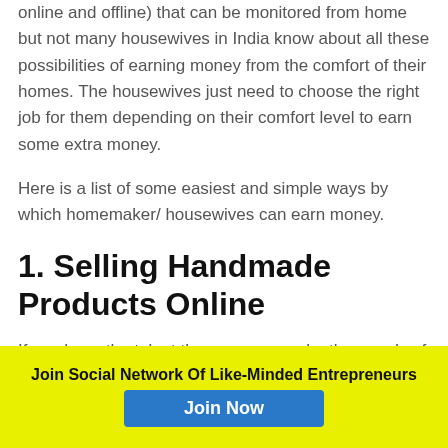online and offline) that can be monitored from home but not many housewives in India know about all these possibilities of earning money from the comfort of their homes. The housewives just need to choose the right job for them depending on their comfort level to earn some extra money.
Here is a list of some easiest and simple ways by which homemaker/ housewives can earn money.
1. Selling Handmade Products Online
If you have the talent then you can make thousands of rupees by selling your handmade products online. You
Join Social Network Of Like-Minded Entrepreneurs
Join Now